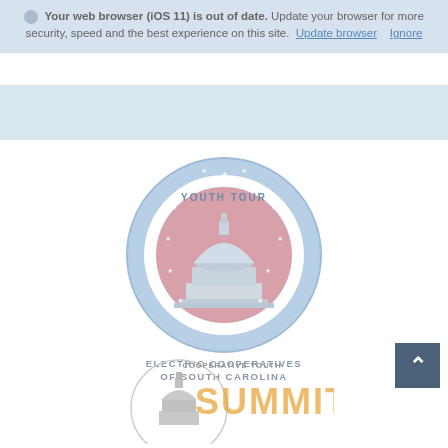Your web browser (iOS 11) is out of date. Update your browser for more security, speed and the best experience on this site. Update browser  Ignore
[Figure (logo): Youth Tour — Electric Cooperatives of South Carolina circular logo with US Capitol building in center, stars around border, blue and pink color scheme]
[Figure (logo): Cooperative Youth Summit logo with US Capitol building and orange/gold text]